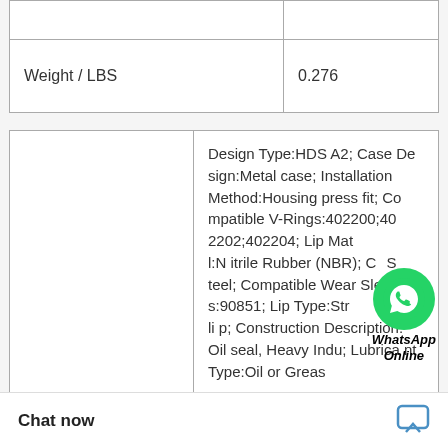|  |  |
| Weight / LBS | 0.276 |
| SQ-127 NBR SQ 36.17X2.62 Square Rings | Design Type:HDS A2; Case Design:Metal case; Installation Method:Housing press fit; Compatible V-Rings:402200;402202;402204; Lip Material:Nitrile Rubber (NBR); Case:Steel; Compatible Wear Sleeves:90851; Lip Type:Straight lip; Construction Description:Oil seal, Heavy Indu; Lubricant Type:Oil or Greas |
|  | Weight / Kilogram:0.045; Solid or Split Seal:Solid; Housing Bore:2.835 Inch / 72.009; Inch; Noun:Seal; iter Item Number:1 Description:1.85 |
Chat now